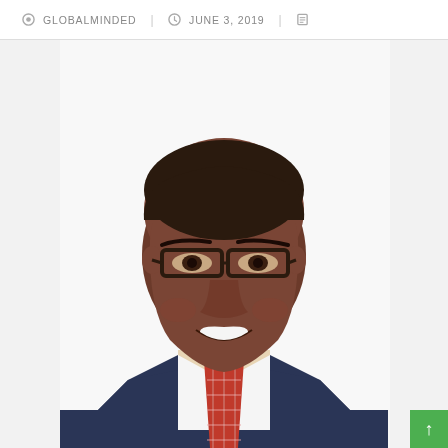GLOBALMINDED | JUNE 3, 2019
[Figure (photo): Professional headshot of a young Black man wearing glasses, a navy suit, white dress shirt, and a red plaid tie, smiling against a white background.]